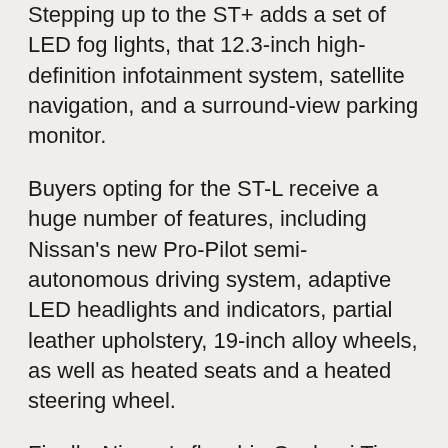Stepping up to the ST+ adds a set of LED fog lights, that 12.3-inch high-definition infotainment system, satellite navigation, and a surround-view parking monitor.
Buyers opting for the ST-L receive a huge number of features, including Nissan's new Pro-Pilot semi-autonomous driving system, adaptive LED headlights and indicators, partial leather upholstery, 19-inch alloy wheels, as well as heated seats and a heated steering wheel.
Finally, Nissan's flagship Qashqai Ti comes packaged with quilted leather upholstery and massaging front seats, hands-free boot lift, 10-speaker sound system from BOSE, 10.8-inch head-up display and a 12.3-inch TFT instrument cluster.